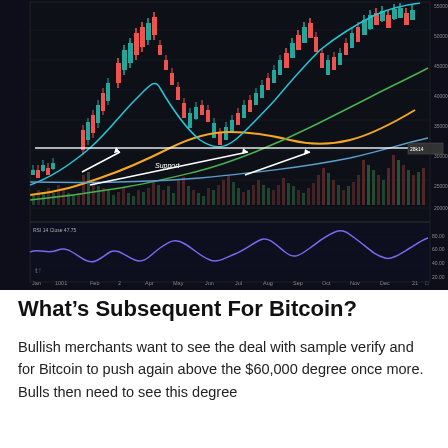[Figure (continuous-plot): Bitcoin price chart (candlestick) on a dark background showing price history from Jan to Dec, with moving average curves (orange, teal, blue, green), a horizontal white support/resistance line at ~28k-30k labeled '28k14' with three white arrows pointing to it labeled 'Support', volume bars below, and an RSI/oscillator sub-panel at the bottom. X-axis shows months: Jan, 1001, Feb, 2, Apr, May, Jun, Jul, Aug, Sep, Oct, Nov, Dec, and year markers.]
What’s Subsequent For Bitcoin?
Bullish merchants want to see the deal with sample verify and for Bitcoin to push again above the $60,000 degree once more. Bulls then need to see this degree